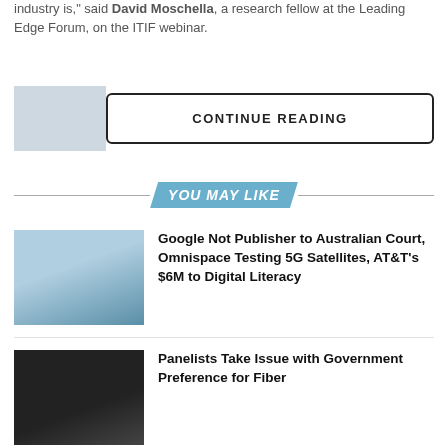industry is," said David Moschella, a research fellow at the Leading Edge Forum, on the ITIF webinar.
CONTINUE READING
YOU MAY LIKE
Google Not Publisher to Australian Court, Omnispace Testing 5G Satellites, AT&T's $6M to Digital Literacy
Panelists Take Issue with Government Preference for Fiber
Affordable Connectivity Outreach Program, Amazon's SpaceX Satellite Concerns, Axios Acquired